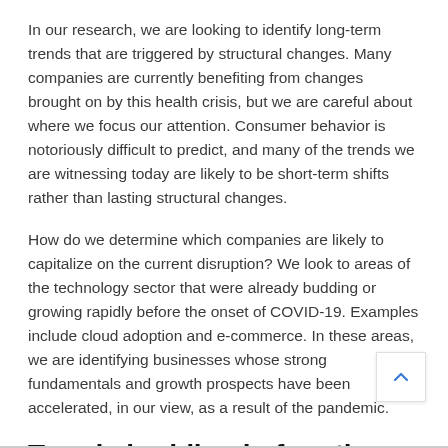In our research, we are looking to identify long-term trends that are triggered by structural changes. Many companies are currently benefiting from changes brought on by this health crisis, but we are careful about where we focus our attention. Consumer behavior is notoriously difficult to predict, and many of the trends we are witnessing today are likely to be short-term shifts rather than lasting structural changes.
How do we determine which companies are likely to capitalize on the current disruption? We look to areas of the technology sector that were already budding or growing rapidly before the onset of COVID-19. Examples include cloud adoption and e-commerce. In these areas, we are identifying businesses whose strong fundamentals and growth prospects have been accelerated, in our view, as a result of the pandemic.
Trends budding before the pandemic are accelerating